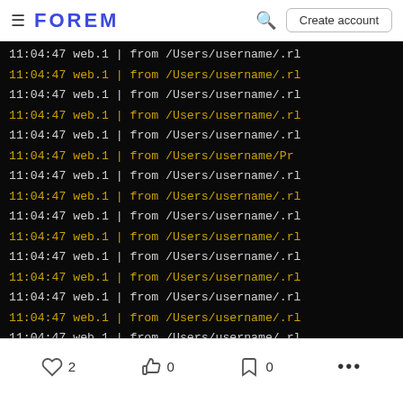FOREM — navigation bar with search and Create account button
[Figure (screenshot): Terminal/console output showing repeated log lines: '11:04:47 web.1  | from /Users/username/.r' alternating between white and yellow colored text, with the last line showing 'from config.ru:3:in `bl']
2 likes, 0 reactions, 0 bookmarks, more options